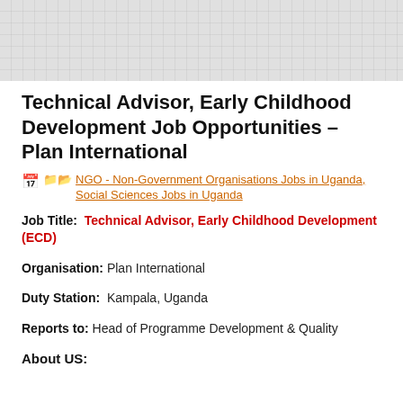[Figure (other): Grey textured header banner at top of page]
Technical Advisor, Early Childhood Development Job Opportunities – Plan International
NGO - Non-Government Organisations Jobs in Uganda, Social Sciences Jobs in Uganda
Job Title:  Technical Advisor, Early Childhood Development (ECD)
Organisation:  Plan International
Duty Station:  Kampala, Uganda
Reports to:  Head of Programme Development & Quality
About US: